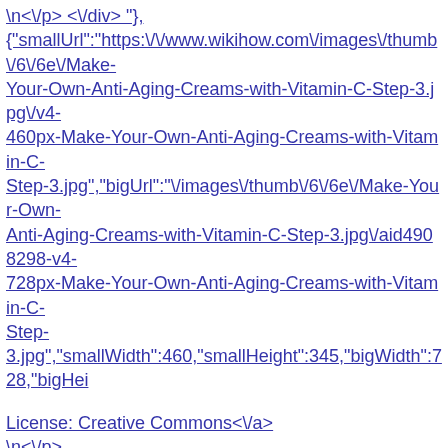\n<\/p> <\/div> "},
{"smallUrl":"https:\/\/www.wikihow.com\/images\/thumb\/6\/6e\/Make-Your-Own-Anti-Aging-Creams-with-Vitamin-C-Step-3.jpg\/v4-460px-Make-Your-Own-Anti-Aging-Creams-with-Vitamin-C-Step-3.jpg","bigUrl":"\/images\/thumb\/6\/6e\/Make-Your-Own-Anti-Aging-Creams-with-Vitamin-C-Step-3.jpg\/aid4908298-v4-728px-Make-Your-Own-Anti-Aging-Creams-with-Vitamin-C-Step-3.jpg","smallWidth":460,"smallHeight":345,"bigWidth":728,"bigHei
License: Creative Commons<\/a>
\n<\/p>
\n<\/p><\/div>"},
{"smallUrl":"https:\/\/www.wikihow.com\/images\/thumb\/0\/09\/Make-Your-Own-Anti-Aging-Creams-with-Vitamin-C-Step-4.jpg\/v4-460px-Make-Your-Own-Anti-Aging-Creams-with-Vitamin-C-Step-4.jpg","bigUrl":"\/images\/thumb\/0\/09\/Make-Your-Own-Anti-Aging-Creams-with-Vitamin-C-Step-4.jpg\/aid4908298-v4-728px-Make-Your-Own-Anti-Aging-Creams-with-Vitamin-C-Step-4.jpg","smallWidth":460,"smallHeight":345,"bigWidth":728,"bigHei
License: Creative Commons<\/a>
\n<\/p>